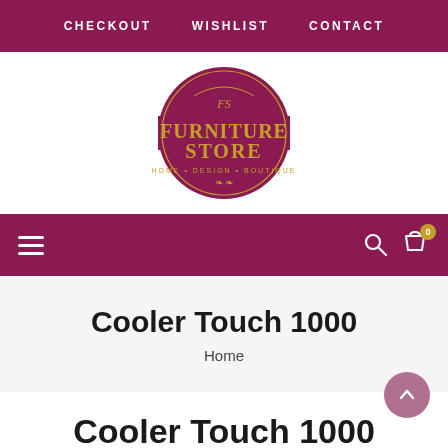CHECKOUT  WISHLIST  CONTACT
[Figure (logo): The Furniture Store - Home Design Boutique circular logo with maroon background and gold text]
Hamburger menu / Search / Cart (0)
Cooler Touch 1000
Home
Cooler Touch 1000